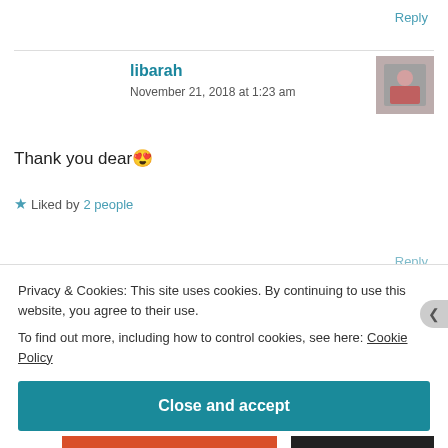Reply
libarah
November 21, 2018 at 1:23 am
Thank you dear 😍
★ Liked by 2 people
Reply
Privacy & Cookies: This site uses cookies. By continuing to use this website, you agree to their use. To find out more, including how to control cookies, see here: Cookie Policy
Close and accept